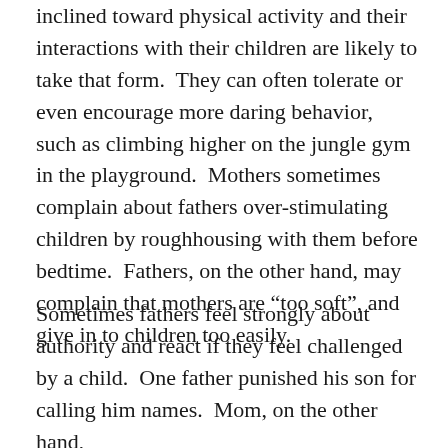inclined toward physical activity and their interactions with their children are likely to take that form.  They can often tolerate or even encourage more daring behavior, such as climbing higher on the jungle gym in the playground.  Mothers sometimes complain about fathers over-stimulating children by roughhousing with them before bedtime.  Fathers, on the other hand, may complain that mothers are “too soft”, and give in to children too easily.
Sometimes fathers feel strongly about authority and react if they feel challenged by a child.  One father punished his son for calling him names.  Mom, on the other hand,